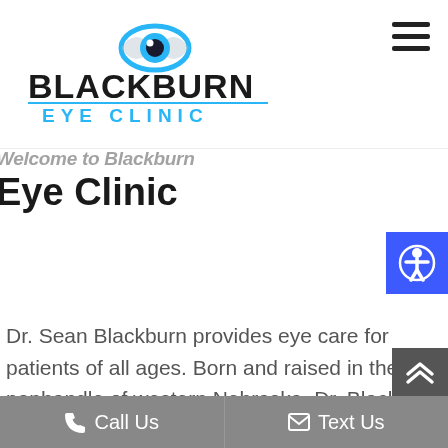[Figure (logo): Blackburn Eye Clinic logo with eye icon and text 'BLACKBURN EYE CLINIC']
[Figure (other): Hamburger menu icon (three horizontal lines)]
Welcome to Blackburn Eye Clinic
[Figure (other): Accessibility icon button (blue square with person in circle)]
Dr. Sean Blackburn provides eye care for patients of all ages. Born and raised in the panhandle of western Nebraska, Dr. Blackburn understands the many issues his patients face living in an arid climate, the priority of annual exams and
[Figure (other): Scroll to top button (dark grey with upward chevron arrows)]
Call Us  Text Us